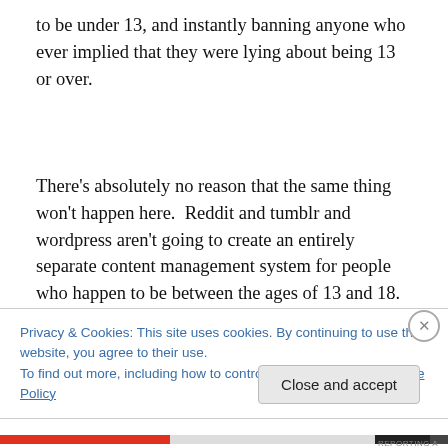to be under 13, and instantly banning anyone who ever implied that they were lying about being 13 or over.
There's absolutely no reason that the same thing won't happen here.  Reddit and tumblr and wordpress aren't going to create an entirely separate content management system for people who happen to be between the ages of 13 and 18.  They're just going to say “This site is for
Privacy & Cookies: This site uses cookies. By continuing to use this website, you agree to their use.
To find out more, including how to control cookies, see here: Cookie Policy
Close and accept